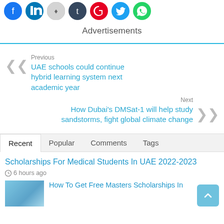[Figure (other): Social media share icons: Facebook, LinkedIn, Reddit, Tumblr, Pinterest, Twitter, WhatsApp]
Advertisements
Previous
UAE schools could continue hybrid learning system next academic year
Next
How Dubai's DMSat-1 will help study sandstorms, fight global climate change
Recent | Popular | Comments | Tags
Scholarships For Medical Students In UAE 2022-2023
6 hours ago
[Figure (photo): Thumbnail image for article about Masters Scholarships]
How To Get Free Masters Scholarships In